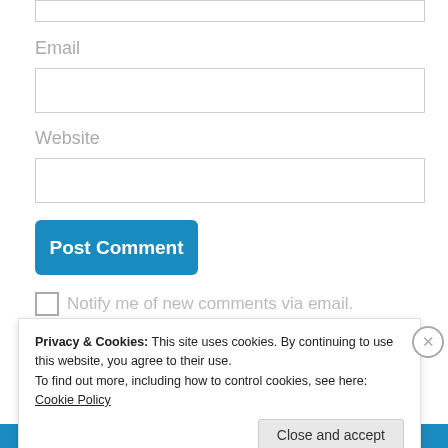Email
Website
Post Comment
Notify me of new comments via email.
Privacy & Cookies: This site uses cookies. By continuing to use this website, you agree to their use. To find out more, including how to control cookies, see here: Cookie Policy
Close and accept